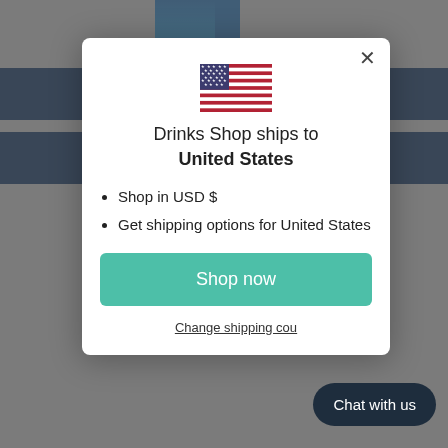[Figure (screenshot): Website background with dark navy blue navigation bars and header elements, partially obscured by modal overlay.]
[Figure (illustration): US flag emoji/icon displayed at center top of the modal dialog.]
Drinks Shop ships to United States
Shop in USD $
Get shipping options for United States
Shop now
Change shipping cou...
Chat with us